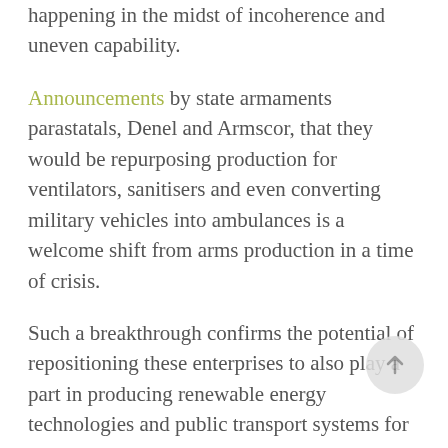happening in the midst of incoherence and uneven capability.
Announcements by state armaments parastatals, Denel and Armscor, that they would be repurposing production for ventilators, sanitisers and even converting military vehicles into ambulances is a welcome shift from arms production in a time of crisis.
Such a breakthrough confirms the potential of repositioning these enterprises to also play a part in producing renewable energy technologies and public transport systems for the just transition to avert a 2°C increase in